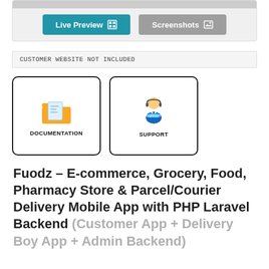[Figure (screenshot): Top section with a gray image placeholder bar and two buttons: 'Live Preview' (blue) and 'Screenshots' (gray)]
CUSTOMER WEBSITE NOT INCLUDED
[Figure (illustration): Two clickable cards side by side: Documentation (folder icon) and Support (support agent icon)]
Fuodz – E-commerce, Grocery, Food, Pharmacy Store & Parcel/Courier Delivery Mobile App with PHP Laravel Backend (Customer App + Delivery Boy App + Admin Backend)